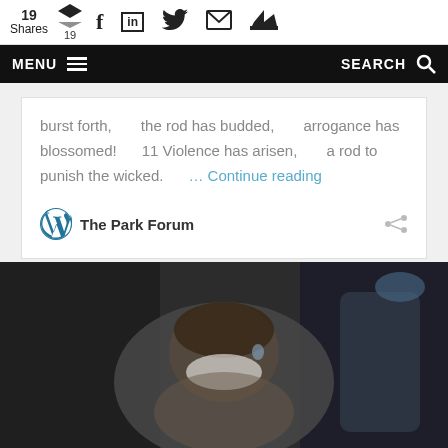19 Shares | 19 | [social share icons]
MENU | SEARCH
burst forth,      the rod has budded,      arrogance has blossomed!      11 Violence has arisen,      a rod to punish the wicked.      … Continue reading
The Park Forum
[Figure (photo): Photo of a child wearing a face mask, bending over, with other people in the background]